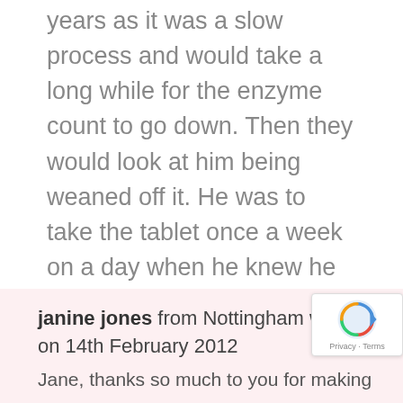years as it was a slow process and would take a long while for the enzyme count to go down. Then they would look at him being weaned off it. He was to take the tablet once a week on a day when he knew he wasn't going to be doing anything the next day because it was going to make him ill and he was to take folic acid every day to counteract the effects of the anti-cancer drug. My son wasn't… Read more
janine jones from Nottingham wrote on 14th February 2012
Jane, thanks so much to you for making